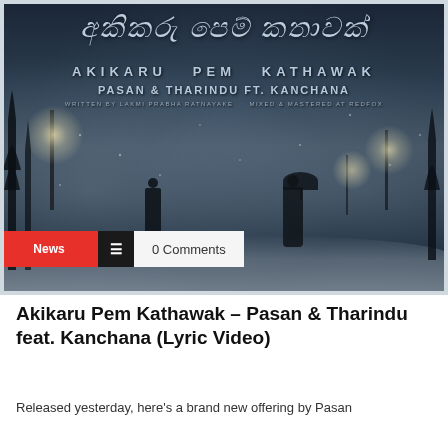[Figure (photo): Music single cover art for 'Akikaru Pem Kathawak' featuring two silhouetted figures on a snowy street at night with street lights and fog. Text overlay shows Sinhala script title, 'AKIKARU PEM KATHAWAK', 'PASAN & THARINDU FT. KANCHANA', 'WRITTEN BY LAKMI PRABHA RATNAYAKE', 'MIXED & MASTERED AT REDFOX'. Tags bar shows red 'News' label, hamburger menu icon, and '0 Comments'.]
Akikaru Pem Kathawak – Pasan & Tharindu feat. Kanchana (Lyric Video)
Released yesterday, here's a brand new offering by Pasan